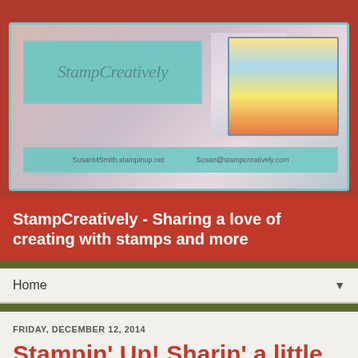[Figure (screenshot): StampCreatively blog banner with teal logo box, crafting supply photos, and contact info bar showing SusanMSmith.stampinup.net and Susan@stampcreatively.com]
StampCreatively - Sharing a love of creating with stamps and more
Home
FRIDAY, DECEMBER 12, 2014
Stampin' Up! Sharin' a little love